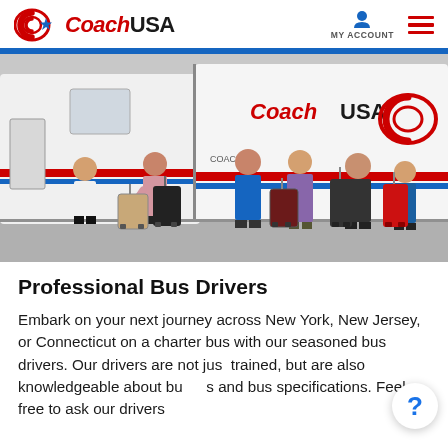Coach USA | MY ACCOUNT
[Figure (photo): People with luggage standing beside a Coach USA charter bus. A Coach USA employee in white shirt is helping load baggage while several passengers with rolling suitcases wait nearby. The white buses display the Coach USA logo and red/blue stripes.]
Professional Bus Drivers
Embark on your next journey across New York, New Jersey, or Connecticut on a charter bus with our seasoned bus drivers. Our drivers are not just trained, but are also knowledgeable about buses and bus specifications. Feel free to ask our drivers